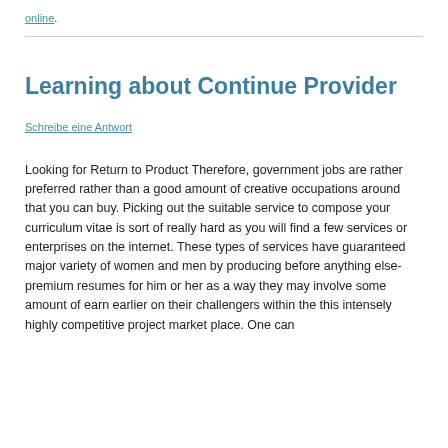online.
Learning about Continue Provider
Schreibe eine Antwort
Looking for Return to Product Therefore, government jobs are rather preferred rather than a good amount of creative occupations around that you can buy. Picking out the suitable service to compose your curriculum vitae is sort of really hard as you will find a few services or enterprises on the internet. These types of services have guaranteed major variety of women and men by producing before anything else-premium resumes for him or her as a way they may involve some amount of earn earlier on their challengers within the this intensely highly competitive project market place. One can